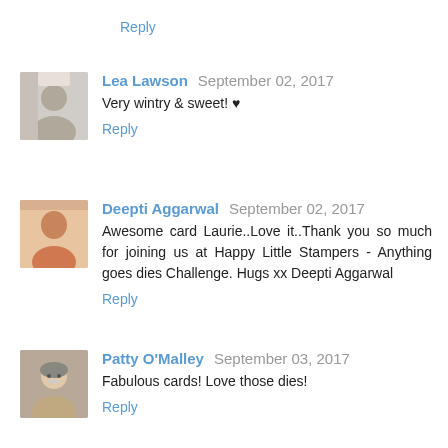Reply
Lea Lawson  September 02, 2017
Very wintry & sweet! ♥
Reply
Deepti Aggarwal  September 02, 2017
Awesome card Laurie..Love it..Thank you so much for joining us at Happy Little Stampers - Anything goes dies Challenge. Hugs xx Deepti Aggarwal
Reply
Patty O'Malley  September 03, 2017
Fabulous cards! Love those dies!
Reply